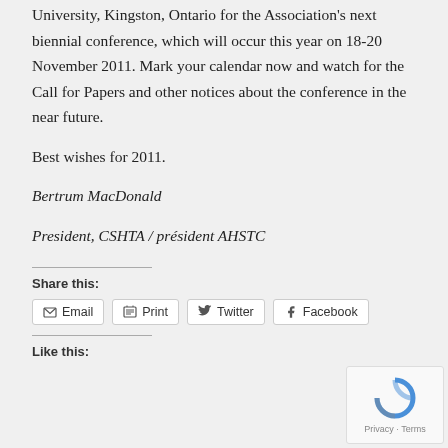University, Kingston, Ontario for the Association's next biennial conference, which will occur this year on 18-20 November 2011. Mark your calendar now and watch for the Call for Papers and other notices about the conference in the near future.
Best wishes for 2011.
Bertrum MacDonald
President, CSHTA / président AHSTC
Share this:
Email  Print  Twitter  Facebook
Like this: